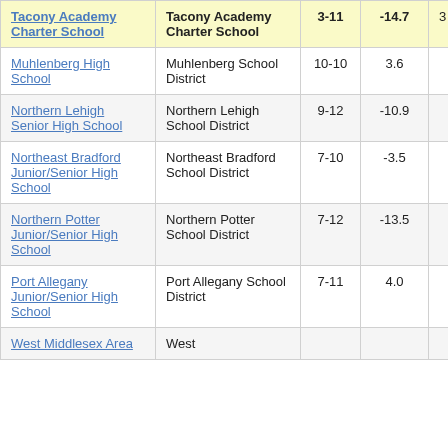| School | District | Grades | Value |  |
| --- | --- | --- | --- | --- |
| Tacony Academy Charter School | Tacony Academy Charter School | 3-11 | -14.7 | 3 |
| Muhlenberg High School | Muhlenberg School District | 10-10 | 3.6 |  |
| Northern Lehigh Senior High School | Northern Lehigh School District | 9-12 | -10.9 |  |
| Northeast Bradford Junior/Senior High School | Northeast Bradford School District | 7-10 | -3.5 |  |
| Northern Potter Junior/Senior High School | Northern Potter School District | 7-12 | -13.5 |  |
| Port Allegany Junior/Senior High School | Port Allegany School District | 7-11 | 4.0 |  |
| West Middlesex Area | West |  |  |  |